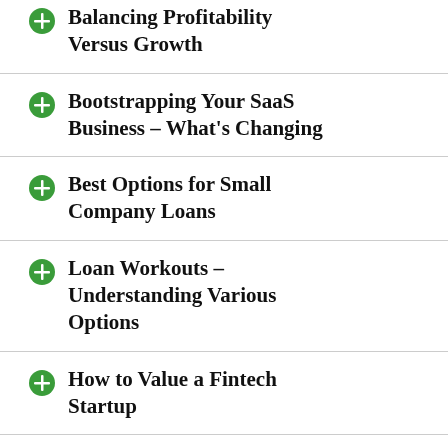Balancing Profitability Versus Growth
Bootstrapping Your SaaS Business – What's Changing
Best Options for Small Company Loans
Loan Workouts – Understanding Various Options
How to Value a Fintech Startup
The Value of Angel